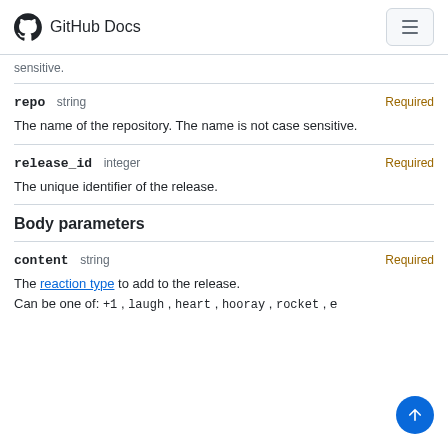GitHub Docs
sensitive.
repo  string  Required
The name of the repository. The name is not case sensitive.
release_id  integer  Required
The unique identifier of the release.
Body parameters
content  string  Required
The reaction type to add to the release.
Can be one of: +1 , laugh , heart , hooray , rocket , e…